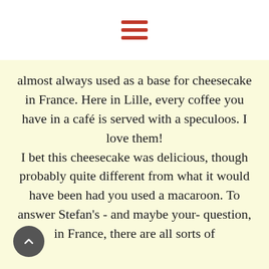≡ (hamburger menu icon)
almost always used as a base for cheesecake in France. Here in Lille, every coffee you have in a café is served with a speculoos. I love them! I bet this cheesecake was delicious, though probably quite different from what it would have been had you used a macaroon. To answer Stefan's - and maybe your- question, in France, there are all sorts of